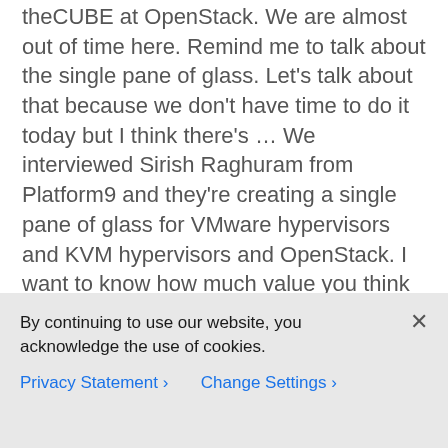theCUBE at OpenStack. We are almost out of time here. Remind me to talk about the single pane of glass. Let's talk about that because we don't have time to do it today but I think there's … We interviewed Sirish Raghuram from Platform9 and they're creating a single pane of glass for VMware hypervisors and KVM hypervisors and OpenStack. I want to know how much value you think that will bring? Again, we don't have time to talk about it today.
Stu Miniman:        Yeah, we'll talk about then but you remember [crosstalk 00:56:05]. It's spelled P-A-I-N.
By continuing to use our website, you acknowledge the use of cookies.
Privacy Statement > Change Settings >